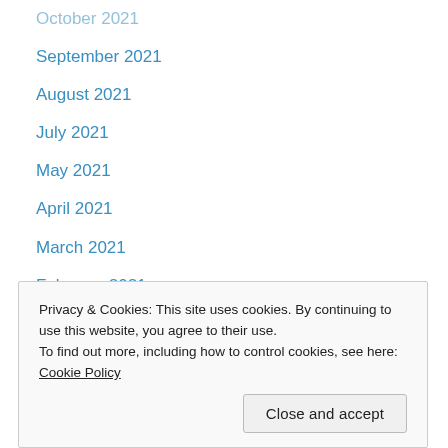October 2021
September 2021
August 2021
July 2021
May 2021
April 2021
March 2021
February 2021
January 2021
December 2020
November 2020
October 2020
September 2020
August 2020
January 2020
Privacy & Cookies: This site uses cookies. By continuing to use this website, you agree to their use. To find out more, including how to control cookies, see here: Cookie Policy